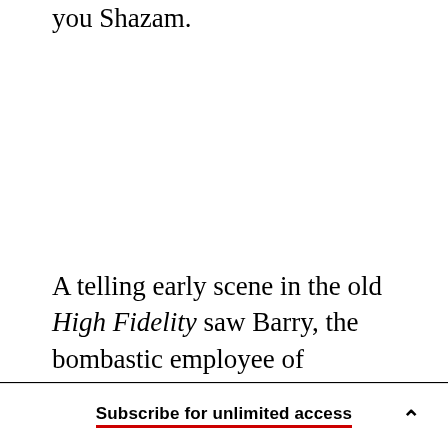you Shazam.
A telling early scene in the old High Fidelity saw Barry, the bombastic employee of Cusack’s Rob, repel a would-be customer searching for Stevie Wonder’s “I Just Called to Say I Love You.” Barry
Subscribe for unlimited access